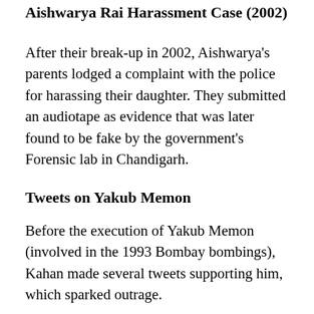Aishwarya Rai Harassment Case (2002)
After their break-up in 2002, Aishwarya's parents lodged a complaint with the police for harassing their daughter. They submitted an audiotape as evidence that was later found to be fake by the government's Forensic lab in Chandigarh.
Tweets on Yakub Memon
Before the execution of Yakub Memon (involved in the 1993 Bombay bombings), Kahan made several tweets supporting him, which sparked outrage.